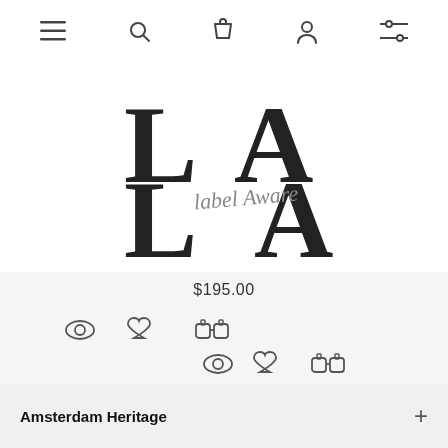[Figure (screenshot): Mobile e-commerce navigation bar with hamburger menu, search, shopping bag, user account, and filter icons]
[Figure (logo): Label Aware (LA) logo with large serif L and A letters overlapping, with italic script 'label Aware' in the center]
$195.00
[Figure (infographic): Row of product action icons: eye (view), heart (wishlist), binoculars (compare) - shown twice in two rows]
Amsterdam Heritage
Buddha to Buddha USA